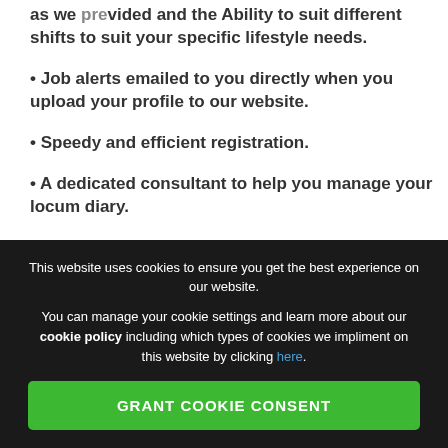shifts to suit your specific lifestyle needs.
• Job alerts emailed to you directly when you upload your profile to our website.
• Speedy and efficient registration.
• A dedicated consultant to help you manage your locum diary.
• Accurate and prompt weekly payments - PAYE and
This website uses cookies to ensure you get the best experience on our website.
You can manage your cookie settings and learn more about our cookie policy including which types of cookies we impliment on this website by clicking here.
GRANT COOKIE CONSENT